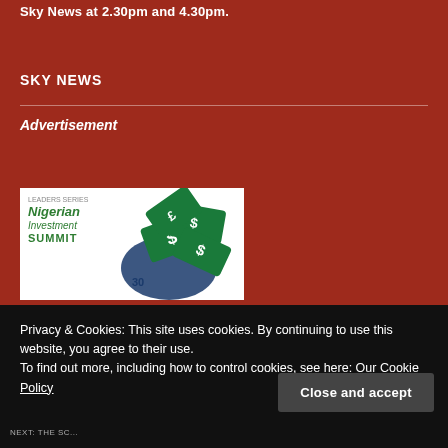Sky News at 2.30pm and 4.30pm.
SKY NEWS
Advertisement
[Figure (illustration): Nigerian Investment Summit advertisement banner with green text and dollar sign graphics on a globe background]
Privacy & Cookies: This site uses cookies. By continuing to use this website, you agree to their use.
To find out more, including how to control cookies, see here: Our Cookie Policy
Close and accept
NEXT: THE SC...